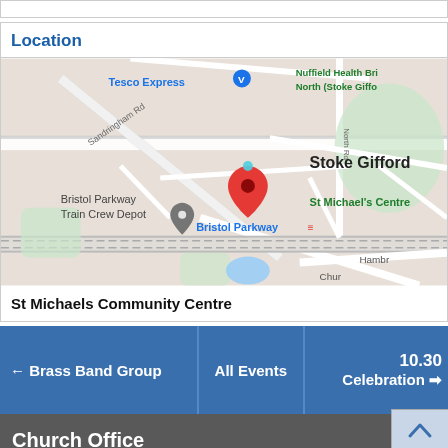Location
[Figure (map): Google Maps view of Stoke Gifford area showing St Michael's Centre location marker (red pin), Bristol Parkway Train Crew Depot, Tesco Express, Nuffield Health Bristol North (Stoke Gifford), and Bristol Parkway train station]
St Michaels Community Centre
← Brass Band Group
All Events
10.30 Celebration →
Church Office